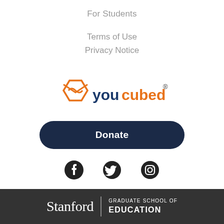For Students
Terms of Use
Privacy Notice
[Figure (logo): Youcubed logo with orange envelope icon and text 'youcubed' in blue and orange with registered trademark symbol]
Donate
[Figure (infographic): Social media icons: Facebook, Twitter, Instagram]
[Figure (logo): Stanford Graduate School of Education logo with white text on dark background]